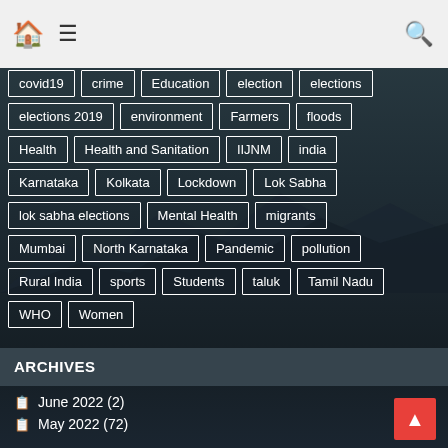Home | Menu | Search
elections 2019
environment
Farmers
floods
Health
Health and Sanitation
IIJNM
india
Karnataka
Kolkata
Lockdown
Lok Sabha
lok sabha elections
Mental Health
migrants
Mumbai
North Karnataka
Pandemic
pollution
Rural India
sports
Students
taluk
Tamil Nadu
WHO
Women
ARCHIVES
June 2022 (2)
May 2022 (72)